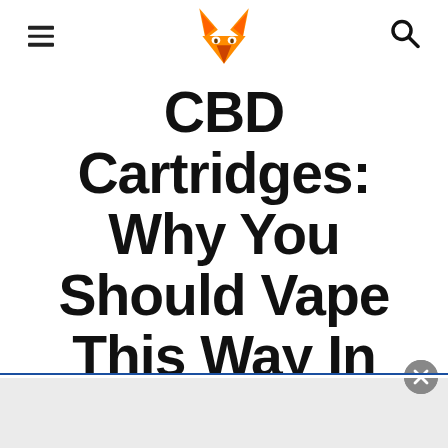[hamburger menu icon] [fox logo] [search icon]
CBD Cartridges: Why You Should Vape This Way In